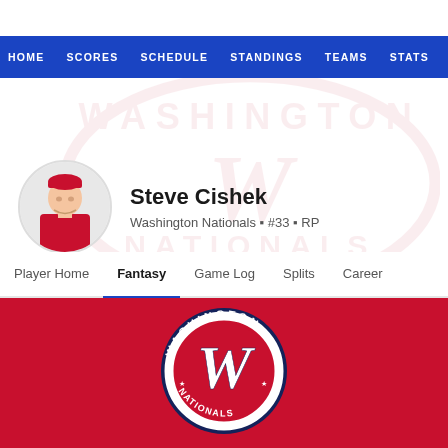HOME  SCORES  SCHEDULE  STANDINGS  TEAMS  STATS
Steve Cishek
Washington Nationals • #33 • RP
Player Home  Fantasy  Game Log  Splits  Career
[Figure (logo): Washington Nationals circular logo with cursive W, red and white on dark red background]